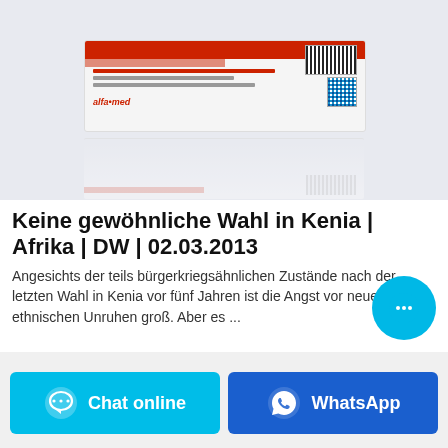[Figure (photo): Photo of a white medication/product package with red stripe and barcode, shown with its reflection on a light gray surface]
Keine gewöhnliche Wahl in Kenia | Afrika | DW | 02.03.2013
Angesichts der teils bürgerkriegsähnlichen Zustände nach der letzten Wahl in Kenia vor fünf Jahren ist die Angst vor neuen ethnischen Unruhen groß. Aber es ...
[Figure (other): Cyan circular chat bubble button with ellipsis icon]
Chat online
WhatsApp